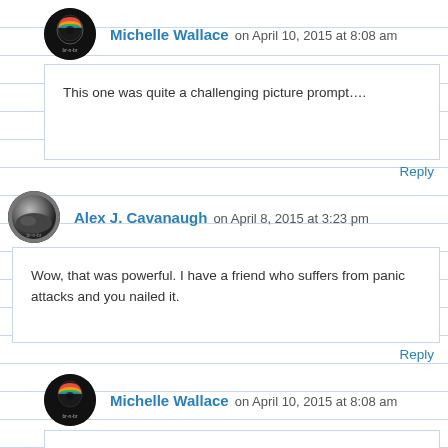Michelle Wallace on April 10, 2015 at 8:08 am
This one was quite a challenging picture prompt….
Reply
Alex J. Cavanaugh on April 8, 2015 at 3:23 pm
Wow, that was powerful. I have a friend who suffers from panic attacks and you nailed it.
Reply
Michelle Wallace on April 10, 2015 at 8:08 am
Thanks Alex!